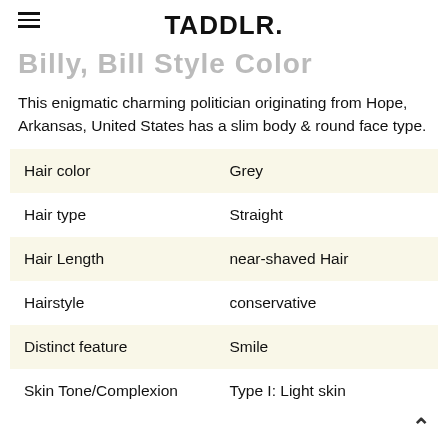TADDLR.
Billy, Bill Style Color
This enigmatic charming politician originating from Hope, Arkansas, United States has a slim body & round face type.
| Attribute | Value |
| --- | --- |
| Hair color | Grey |
| Hair type | Straight |
| Hair Length | near-shaved Hair |
| Hairstyle | conservative |
| Distinct feature | Smile |
| Skin Tone/Complexion | Type I: Light skin |